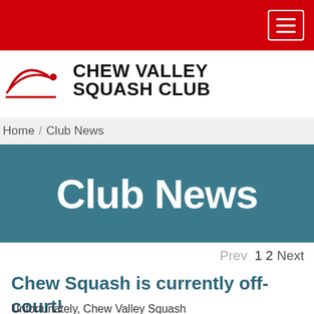Chew Valley Squash Club – navigation bar
[Figure (logo): Chew Valley Squash Club logo with stylized swoosh and dot mark above a red underline, followed by bold uppercase text 'CHEW VALLEY SQUASH CLUB']
Home / Club News
Club News
Prev  1 2  Next
Chew Squash is currently off-court!
Unfortunately, Chew Valley Squash